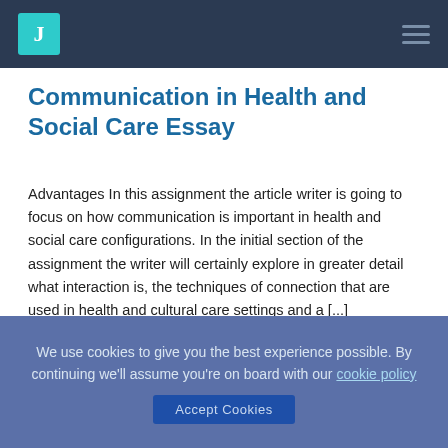J [logo] [hamburger menu]
Communication in Health and Social Care Essay
Advantages In this assignment the article writer is going to focus on how communication is important in health and social care configurations. In the initial section of the assignment the writer will certainly explore in greater detail what interaction is, the techniques of connection that are used in health and cultural care settings and a [...]
care, care professional, communication, essay, health, health care, service user, service users, social
We use cookies to give you the best experience possible. By continuing we'll assume you're on board with our cookie policy
Accept Cookies